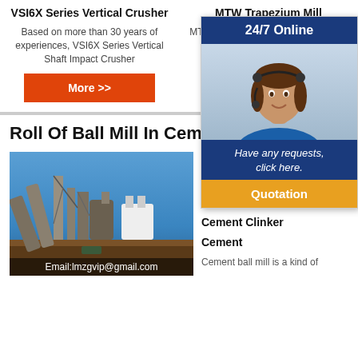VSI6X Series Vertical Crusher
Based on more than 30 years of experiences, VSI6X Series Vertical Shaft Impact Crusher
MTW Trapezium Mill
MTW European Trapezium Mill has a large m... grinding indu...
Roll Of Ball Mill In Cement Indu...
[Figure (photo): Industrial cement/mining plant machinery with Email:lmzgvip@gmail.com overlay]
Use Cement
Ball Mill
Grinding
Cement Clinker
Cement
Cement ball mill is a kind of
[Figure (photo): 24/7 Online chat popup with customer service agent photo and Have any requests, click here. Quotation button]